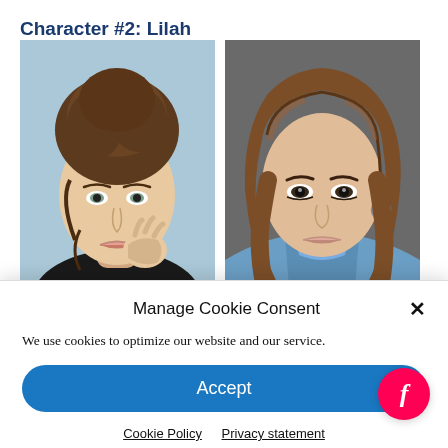Character #2: Lilah
[Figure (photo): Two side-by-side portrait photos of women. Left: woman with brown updo hair against a light blue background. Right: woman with long brown hair against a dark grey background.]
Manage Cookie Consent
We use cookies to optimize our website and our service.
Accept
Cookie Policy  Privacy statement
[Figure (logo): Feedly logo: pink/red circle with white lowercase italic 'f']